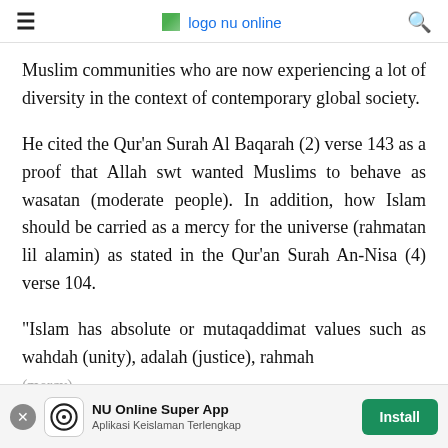≡   logo nu online   🔍
Muslim communities who are now experiencing a lot of diversity in the context of contemporary global society.
He cited the Qur'an Surah Al Baqarah (2) verse 143 as a proof that Allah swt wanted Muslims to behave as wasatan (moderate people). In addition, how Islam should be carried as a mercy for the universe (rahmatan lil alamin) as stated in the Qur'an Surah An-Nisa (4) verse 104.
"Islam has absolute or mutaqaddimat values such as wahdah (unity), adalah (justice), rahmah (mercy)...
[Figure (other): NU Online Super App advertisement banner with close button, app icon, app name and tagline 'Aplikasi Keislaman Terlengkap', and Install button]